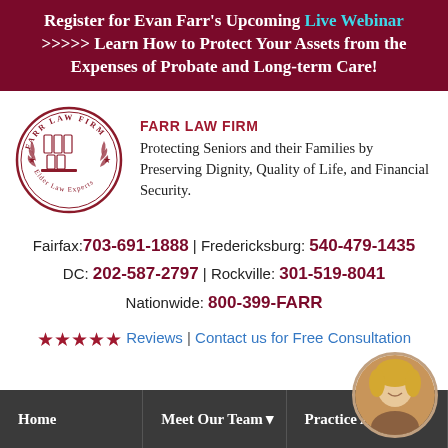Register for Evan Farr's Upcoming Live Webinar >>>>> Learn How to Protect Your Assets from the Expenses of Probate and Long-term Care!
[Figure (logo): Farr Law Firm circular seal logo with columns and laurel wreath, text reads FARR LAW FIRM Elder Law Experts]
FARR LAW FIRM
Protecting Seniors and their Families by Preserving Dignity, Quality of Life, and Financial Security.
Fairfax: 703-691-1888 | Fredericksburg: 540-479-1435
DC: 202-587-2797 | Rockville: 301-519-8041
Nationwide: 800-399-FARR
★★★★★ Reviews | Contact us for Free Consultation
Home | Meet Our Team | Practice Areas